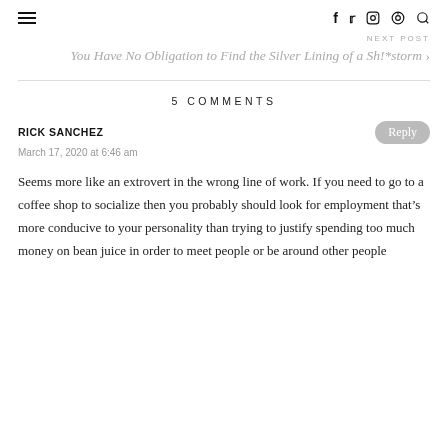≡  f  twitter  instagram  pinterest  search
NEXT POST
You Have No Obligation to Find the Silver Lining of a Sh!*storm >
5 COMMENTS
RICK SANCHEZ
March 17, 2020 at 6:46 am
Seems more like an extrovert in the wrong line of work. If you need to go to a coffee shop to socialize then you probably should look for employment that's more conducive to your personality than trying to justify spending too much money on bean juice in order to meet people or be around other people